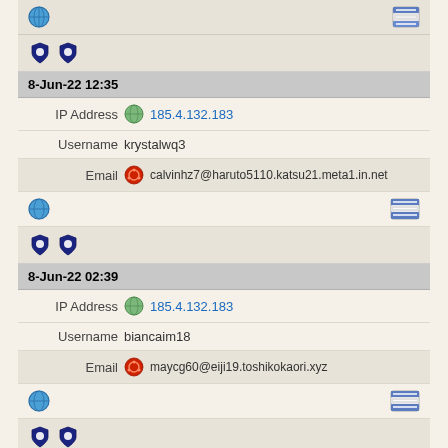Icon row with shield icons (partial top)
8-Jun-22 12:35
IP Address 185.4.132.183
Username krystalwq3
Email calvinhz7@haruto5110.katsu21.meta1.in.net
Globe icon row with flag icon
Shield icon row
8-Jun-22 02:39
IP Address 185.4.132.183
Username biancaim18
Email maycg60@eiji19.toshikokaori.xyz
Globe icon row with flag icon
Shield icon row
8-Jun-22 02:39
IP Address 185.4.132.183
Username lorapx3
Email (partial)